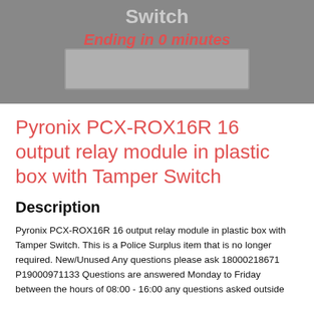[Figure (photo): Product photo of Pyronix PCX-ROX16R relay module with 'Switch' text visible at top and 'Ending in 0 minutes' overlay in red]
Pyronix PCX-ROX16R 16 output relay module in plastic box with Tamper Switch
Description
Pyronix PCX-ROX16R 16 output relay module in plastic box with Tamper Switch. This is a Police Surplus item that is no longer required. New/Unused Any questions please ask 18000218671 P19000971133 Questions are answered Monday to Friday between the hours of 08:00 - 16:00 any questions asked outside